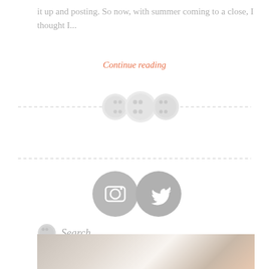it up and posting. So now, with summer coming to a close, I thought I...
Continue reading
[Figure (illustration): Three decorative button icons arranged in a row on a dashed horizontal divider line]
[Figure (illustration): Dashed horizontal divider line]
[Figure (illustration): Two circular social media icons: Instagram (camera) and Twitter (bird), gray filled circles with white icons]
Search
Search ...
[Figure (photo): Partial photo strip at the bottom showing people, partially visible]